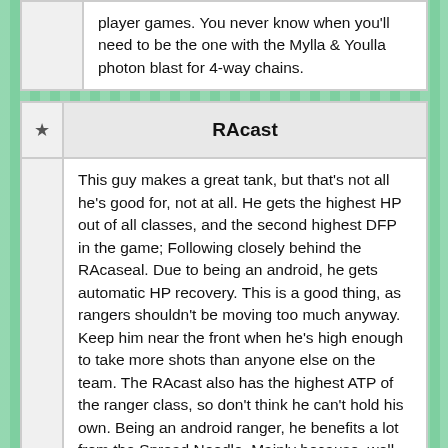player games. You never know when you'll need to be the one with the Mylla & Youlla photon blast for 4-way chains.
RAcast
This guy makes a great tank, but that's not all he's good for, not at all. He gets the highest HP out of all classes, and the second highest DFP in the game; Following closely behind the RAcaseal. Due to being an android, he gets automatic HP recovery. This is a good thing, as rangers shouldn't be moving too much anyway. Keep him near the front when he's high enough to take more shots than anyone else on the team. The RAcast also has the highest ATP of the ranger class, so don't think he can't hold his own. Being an android ranger, he benefits a lot from the Spread Needle. Mainly because, well, it's the Spread Needle, but also, it has a paralyzing special, and, as mentioned before, androids are effective at stop-type weapons.